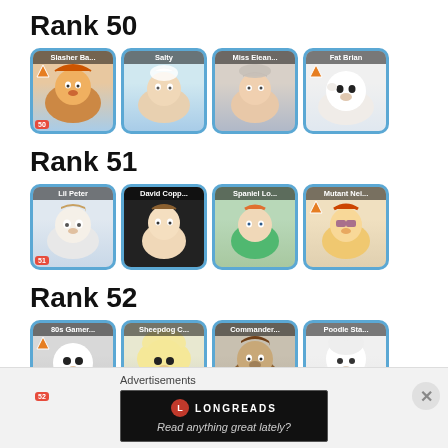Rank 50
[Figure (illustration): Row of 4 character cards for Rank 50: Slasher Ba..., Salty, Miss Elean..., Fat Brian]
Rank 51
[Figure (illustration): Row of 4 character cards for Rank 51: Lil Peter, David Copp..., Spaniel Lo..., Mutant Nei...]
Rank 52
[Figure (illustration): Row of 4 character cards for Rank 52: 80s Gamer..., Sheepdog C..., Commander..., Poodle Sta...]
Advertisements
[Figure (screenshot): Longreads advertisement banner: Read anything great lately?]